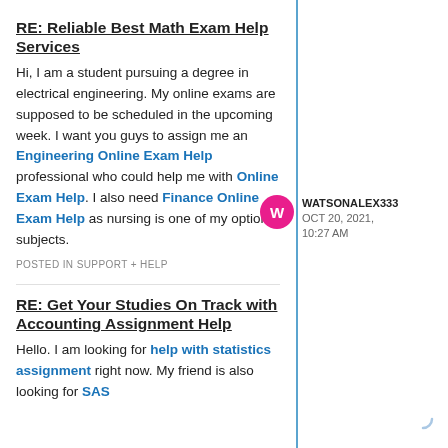RE: Reliable Best Math Exam Help Services
Hi, I am a student pursuing a degree in electrical engineering. My online exams are supposed to be scheduled in the upcoming week. I want you guys to assign me an Engineering Online Exam Help professional who could help me with Online Exam Help. I also need Finance Online Exam Help as nursing is one of my optional subjects.
POSTED IN SUPPORT + HELP
WATSONALEX333
OCT 20, 2021, 10:27 AM
RE: Get Your Studies On Track with Accounting Assignment Help
Hello. I am looking for help with statistics assignment right now. My friend is also looking for SAS